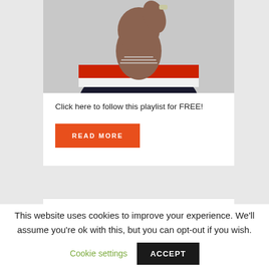[Figure (photo): Portrait photo of a man wearing a striped red, white, and navy sweater with silver chain necklaces, hand raised to his head]
Click here to follow this playlist for FREE!
READ MORE
This website uses cookies to improve your experience. We'll assume you're ok with this, but you can opt-out if you wish.
Cookie settings
ACCEPT